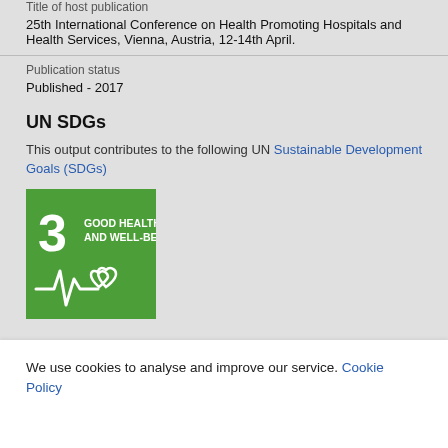Title of host publication
25th International Conference on Health Promoting Hospitals and Health Services, Vienna, Austria, 12-14th April.
Publication status
Published - 2017
UN SDGs
This output contributes to the following UN Sustainable Development Goals (SDGs)
[Figure (logo): UN SDG 3 - Good Health and Well-Being badge. Green square with number 3, text GOOD HEALTH AND WELL-BEING, and a heartbeat/health icon with heart symbol.]
We use cookies to analyse and improve our service. Cookie Policy